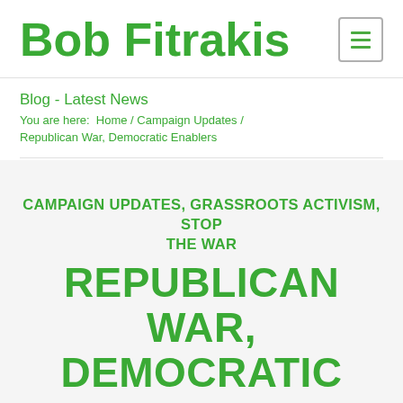Bob Fitrakis
Blog - Latest News
You are here:  Home / Campaign Updates / Republican War, Democratic Enablers
CAMPAIGN UPDATES, GRASSROOTS ACTIVISM, STOP THE WAR
REPUBLICAN WAR, DEMOCRATIC ENABLERS